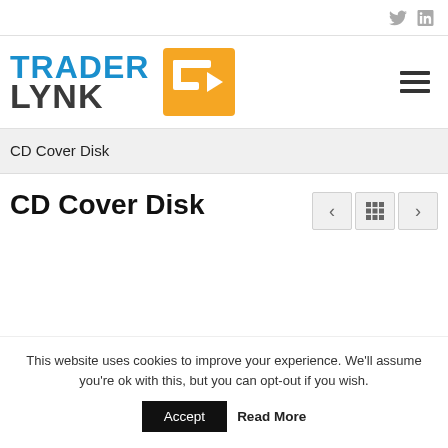Twitter LinkedIn social icons
[Figure (logo): TraderLynk logo with orange and dark gray text and orange arrow/TL graphic mark, hamburger menu icon on right]
CD Cover Disk
CD Cover Disk
This website uses cookies to improve your experience. We'll assume you're ok with this, but you can opt-out if you wish.
Accept   Read More